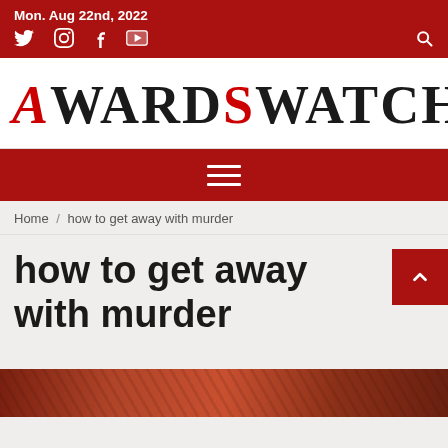Mon. Aug 22nd, 2022
[Figure (logo): AwardsWatch logo in large serif font with A and S in red, rest in black/dark]
Navigation menu (hamburger icon)
Home / how to get away with murder
how to get away with murder
[Figure (photo): Partial photo visible at bottom of page, reddish/brownish tones]